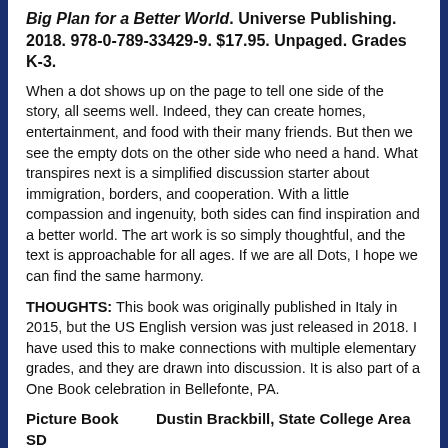Big Plan for a Better World. Universe Publishing. 2018. 978-0-789-33429-9. $17.95. Unpaged. Grades K-3.
When a dot shows up on the page to tell one side of the story, all seems well. Indeed, they can create homes, entertainment, and food with their many friends. But then we see the empty dots on the other side who need a hand. What transpires next is a simplified discussion starter about immigration, borders, and cooperation. With a little compassion and ingenuity, both sides can find inspiration and a better world. The art work is so simply thoughtful, and the text is approachable for all ages. If we are all Dots, I hope we can find the same harmony.
THOUGHTS: This book was originally published in Italy in 2015, but the US English version was just released in 2018. I have used this to make connections with multiple elementary grades, and they are drawn into discussion. It is also part of a One Book celebration in Bellefonte, PA.
Picture Book        Dustin Brackbill, State College Area SD